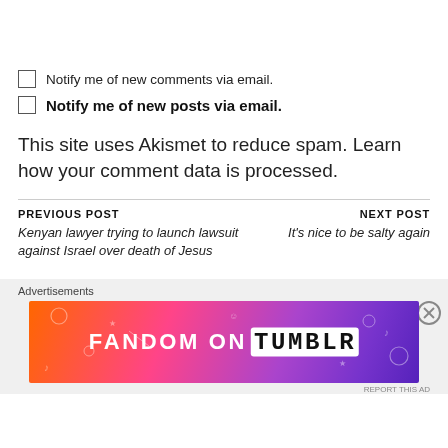Notify me of new comments via email.
Notify me of new posts via email.
This site uses Akismet to reduce spam. Learn how your comment data is processed.
PREVIOUS POST
Kenyan lawyer trying to launch lawsuit against Israel over death of Jesus
NEXT POST
It's nice to be salty again
Advertisements
[Figure (illustration): Fandom on Tumblr advertisement banner with colorful gradient background]